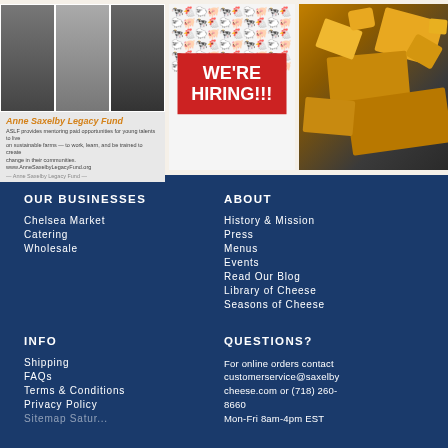[Figure (photo): Three-panel collage: left panel shows black and white photos of people with cheese/dairy items with Anne Saxelby Legacy Fund text below in orange; middle panel shows a 'WE'RE HIRING!!!' red box on animal-print patterned background; right panel shows a color photo of cheese slices on a dark slate board.]
OUR BUSINESSES
ABOUT
Chelsea Market
Catering
Wholesale
History & Mission
Press
Menus
Events
Read Our Blog
Library of Cheese
Seasons of Cheese
INFO
QUESTIONS?
Shipping
FAQs
Terms & Conditions
Privacy Policy
For online orders contact customerservice@saxelbycheese.com or (718) 260-8660
Mon-Fri 8am-4pm EST